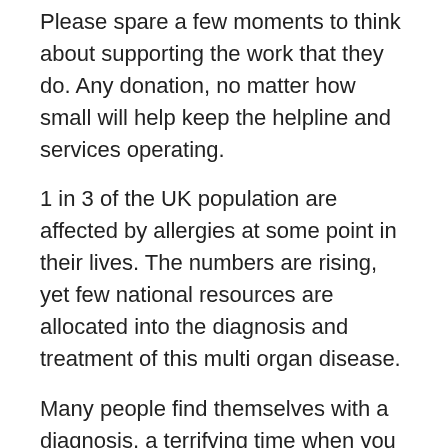Please spare a few moments to think about supporting the work that they do. Any donation, no matter how small will help keep the helpline and services operating.
1 in 3 of the UK population are affected by allergies at some point in their lives. The numbers are rising, yet few national resources are allocated into the diagnosis and treatment of this multi organ disease.
Many people find themselves with a diagnosis, a terrifying time when you learn that your condition could be life threatening. Very often people are not armed with the necessary information about how to shop, cook, eat out and just generally come to terms with and live every day life with allergies. Allergy UK is a real life line for many people with its allergy alert emails, newsletter and fact sheets. Their website is